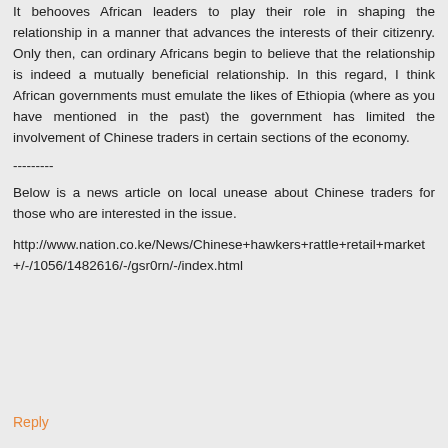It behooves African leaders to play their role in shaping the relationship in a manner that advances the interests of their citizenry. Only then, can ordinary Africans begin to believe that the relationship is indeed a mutually beneficial relationship. In this regard, I think African governments must emulate the likes of Ethiopia (where as you have mentioned in the past) the government has limited the involvement of Chinese traders in certain sections of the economy.
---------
Below is a news article on local unease about Chinese traders for those who are interested in the issue.
http://www.nation.co.ke/News/Chinese+hawkers+rattle+retail+market+/-/1056/1482616/-/gsr0rn/-/index.html
Reply